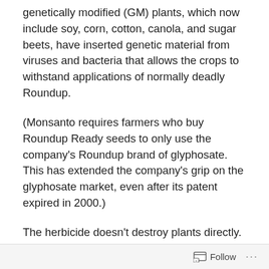genetically modified (GM) plants, which now include soy, corn, cotton, canola, and sugar beets, have inserted genetic material from viruses and bacteria that allows the crops to withstand applications of normally deadly Roundup.
(Monsanto requires farmers who buy Roundup Ready seeds to only use the company's Roundup brand of glyphosate. This has extended the company's grip on the glyphosate market, even after its patent expired in 2000.)
The herbicide doesn't destroy plants directly. It rather cooks up a unique perfect storm of conditions that revs up disease-causing organisms in the soil, and at the same time wipes out plant defenses against those diseases. The mechanisms are well-documented but rarely cited
Follow